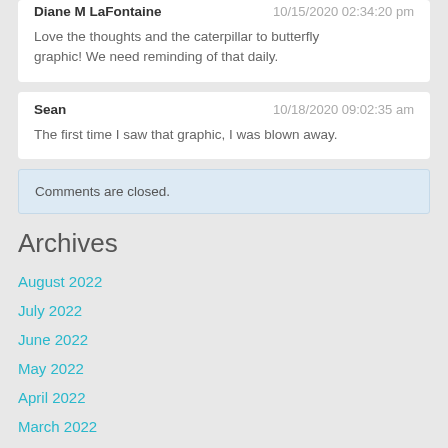Diane M LaFontaine 10/15/2020 02:34:20 pm
Love the thoughts and the caterpillar to butterfly graphic! We need reminding of that daily.
Sean 10/18/2020 09:02:35 am
The first time I saw that graphic, I was blown away.
Comments are closed.
Archives
August 2022
July 2022
June 2022
May 2022
April 2022
March 2022